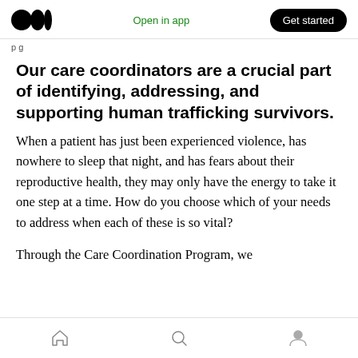Open in app | Get started
p g
Our care coordinators are a crucial part of identifying, addressing, and supporting human trafficking survivors.
When a patient has just been experienced violence, has nowhere to sleep that night, and has fears about their reproductive health, they may only have the energy to take it one step at a time. How do you choose which of your needs to address when each of these is so vital?
Through the Care Coordination Program, we
Home | Search | Profile